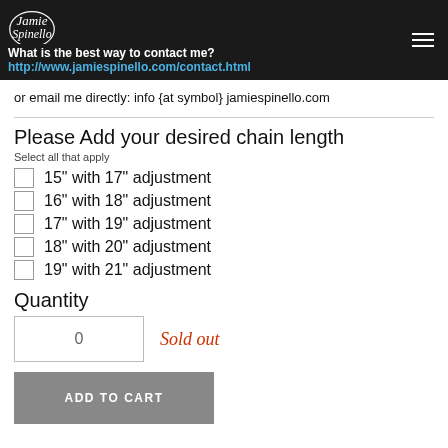What is the best way to contact me? http://www.jamiespinello.com/contact.html
or email me directly: info {at symbol} jamiespinello.com
Please Add your desired chain length
Select all that apply
15" with 17" adjustment
16" with 18" adjustment
17" with 19" adjustment
18" with 20" adjustment
19" with 21" adjustment
Quantity
0   Sold out
ADD TO CART